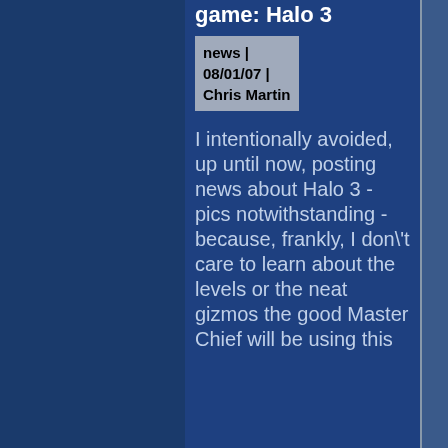game: Halo 3
news | 08/01/07 | Chris Martin
I intentionally avoided, up until now, posting news about Halo 3 - pics notwithstanding - because, frankly, I don't care to learn about the levels or the neat gizmos the good Master Chief will be using this